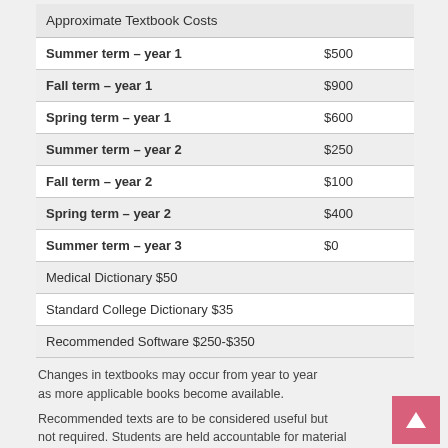| Approximate Textbook Costs |  |
| --- | --- |
| Summer term – year 1 | $500 |
| Fall term – year 1 | $900 |
| Spring term – year 1 | $600 |
| Summer term – year 2 | $250 |
| Fall term – year 2 | $100 |
| Spring term – year 2 | $400 |
| Summer term – year 3 | $0 |
| Medical Dictionary $50 |  |
| Standard College Dictionary $35 |  |
| Recommended Software $250-$350 |  |
Changes in textbooks may occur from year to year as more applicable books become available.
Recommended texts are to be considered useful but not required. Students are held accountable for material in required texts, assigned readings online, and in references.